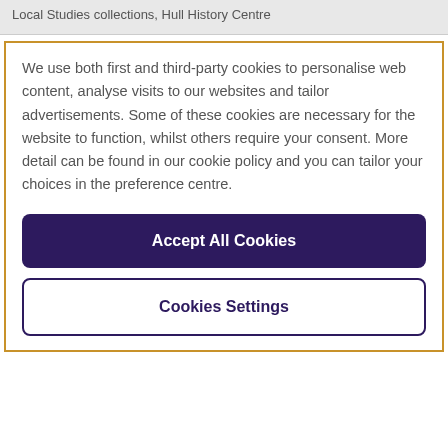Local Studies collections, Hull History Centre
We use both first and third-party cookies to personalise web content, analyse visits to our websites and tailor advertisements. Some of these cookies are necessary for the website to function, whilst others require your consent. More detail can be found in our cookie policy and you can tailor your choices in the preference centre.
Accept All Cookies
Cookies Settings